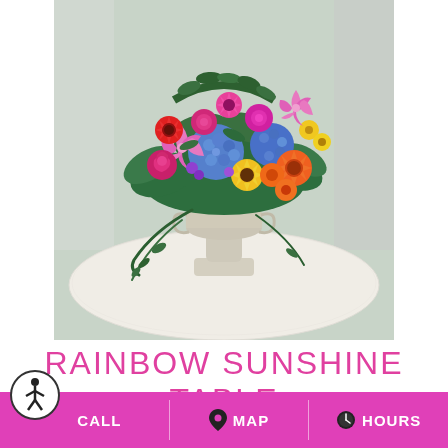[Figure (photo): A large, colorful floral arrangement in an ornate white urn vase sitting on a round table with a white tablecloth. The arrangement includes pink lilies, blue hydrangeas, red and orange gerberas, magenta roses, yellow sunflowers, purple flowers, and lush green foliage trailing down the sides.]
RAINBOW SUNSHINE TABLE ARRANGEMENT
HOW TO
CALL  MAP  HOURS